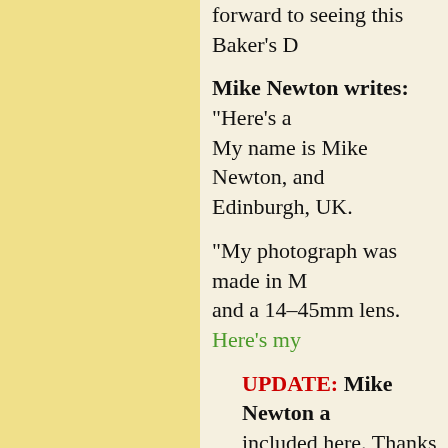forward to seeing this Baker's D
Mike Newton writes: "Here's a My name is Mike Newton, and Edinburgh, UK.
"My photograph was made in M and a 14–45mm lens. Here's my
UPDATE: Mike Newton a included here. Thanks very now to have included such photograph...as with a lot o for your post (and the previ inspiration.
"For what it's worth, I've p print this image than any o well. I've tried it in B&W s something I prefer about th relative simplicity of the co